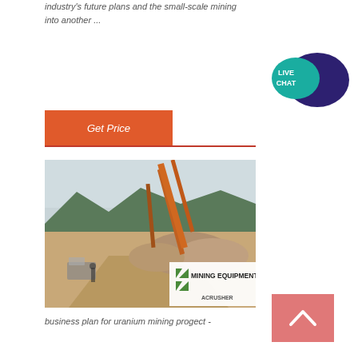industry's future plans and the small-scale mining into another ...
Get Price
[Figure (photo): Mining equipment site with conveyor belts, aggregate piles, and an overlay sign reading 'MINING EQUIPMENT ACRUSHER']
business plan for uranium mining progect -
[Figure (illustration): Live Chat speech bubble icon with teal and dark blue colors]
[Figure (illustration): Scroll to top button — salmon/pink square with upward chevron arrow]